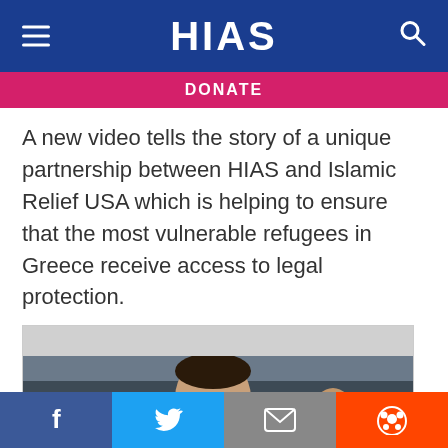HIAS
DONATE
A new video tells the story of a unique partnership between HIAS and Islamic Relief USA which is helping to ensure that the most vulnerable refugees in Greece receive access to legal protection.
[Figure (photo): A man wearing glasses and a collared shirt holding a baby at what appears to be an indoor event with other people in the background]
Social sharing buttons: Facebook, Twitter, Email, Reddit